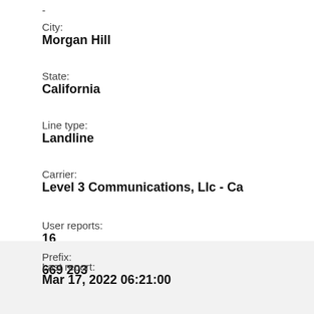-
City:
Morgan Hill
State:
California
Line type:
Landline
Carrier:
Level 3 Communications, Llc - Ca
User reports:
16
Last report:
Mar 17, 2022 06:21:00
Prefix:
669 203